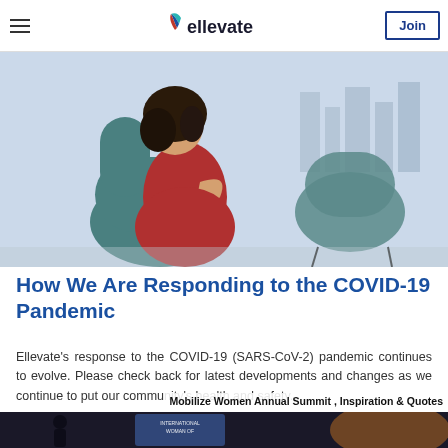ellevate | Join
[Figure (photo): Woman in red dress sitting in a teal chair looking at her phone, by a large window with city view]
How We Are Responding to the COVID-19 Pandemic
Ellevate's response to the COVID-19 (SARS-CoV-2) pandemic continues to evolve. Please check back for latest developments and changes as we continue to put our community's health and safety...
Mobilize Women Annual Summit , Inspiration & Quotes
[Figure (photo): Conference stage with screen showing 'International Woman of...' text, dark audience area]